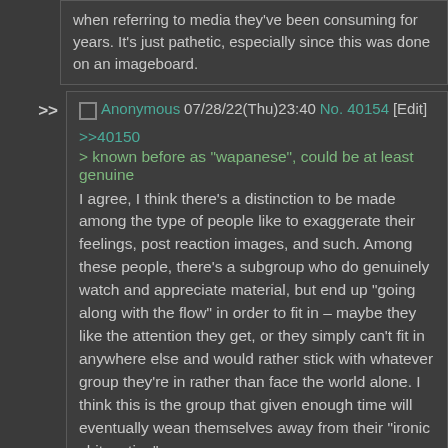when referring to media they've been consuming for years. It's just pathetic, especially since this was done on an imageboard.
Anonymous 07/28/22(Thu)23:40 No. 40154 [Edit]
>>40150
> known before as "wapanese", could be at least genuine
I agree, I think there's a distinction to be made among the type of people like to exaggerate their feelings, post reaction images, and such. Among these people, there's a subgroup who do genuinely watch and appreciate material, but end up "going along with the flow" in order to fit in – maybe they like the attention they get, or they simply can't fit in anywhere else and would rather stick with whatever group they're in rather than face the world alone. I think this is the group that given enough time will eventually wean themselves away from their "ironic shitposting".

As others have mentioned, the other subgroup is those who _solely_ use it as a means to grab attention, and likely may not even watch anime beyond whatever seasonal show is popular. That